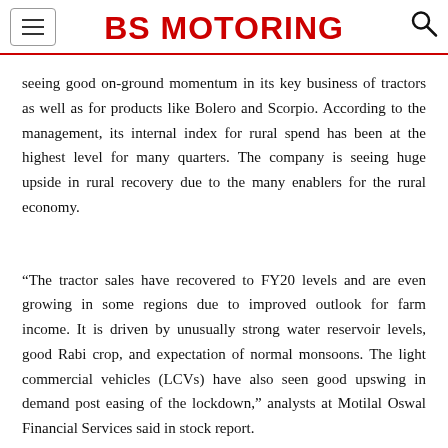BS MOTORING
seeing good on-ground momentum in its key business of tractors as well as for products like Bolero and Scorpio. According to the management, its internal index for rural spend has been at the highest level for many quarters. The company is seeing huge upside in rural recovery due to the many enablers for the rural economy.
“The tractor sales have recovered to FY20 levels and are even growing in some regions due to improved outlook for farm income. It is driven by unusually strong water reservoir levels, good Rabi crop, and expectation of normal monsoons. The light commercial vehicles (LCVs) have also seen good upswing in demand post easing of the lockdown,” analysts at Motilal Oswal Financial Services said in stock report.